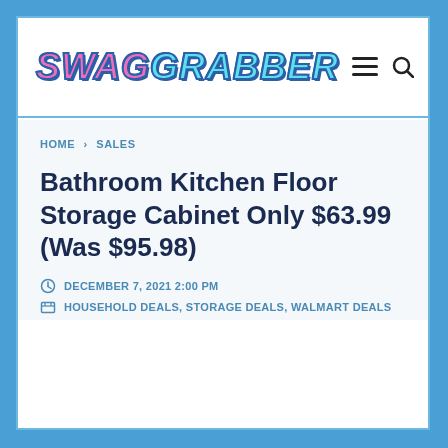SWAG GRABBER
HOME > SALES
Bathroom Kitchen Floor Storage Cabinet Only $63.99 (Was $95.98)
DECEMBER 7, 2021 2:00 PM
HOUSEHOLD DEALS, STORAGE DEALS, WALMART DEALS